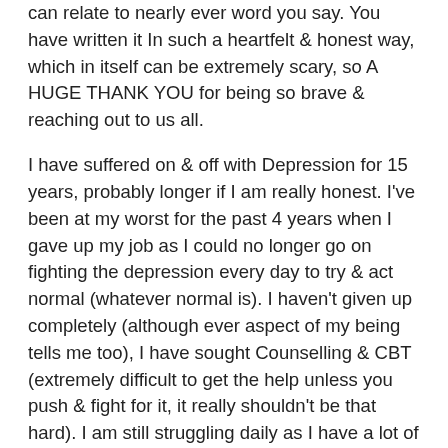can relate to nearly ever word you say. You have written it In such a heartfelt & honest way, which in itself can be extremely scary, so A HUGE THANK YOU for being so brave & reaching out to us all.
I have suffered on & off with Depression for 15 years, probably longer if I am really honest. I've been at my worst for the past 4 years when I gave up my job as I could no longer go on fighting the depression every day to try & act normal (whatever normal is). I haven't given up completely (although ever aspect of my being tells me too), I have sought Counselling & CBT (extremely difficult to get the help unless you push & fight for it, it really shouldn't be that hard). I am still struggling daily as I have a lot of